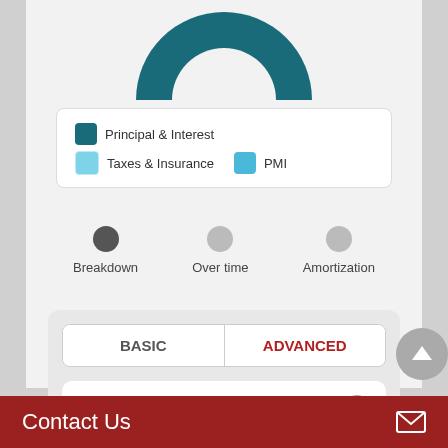[Figure (donut-chart): Partial donut/pie chart visible at top of page, teal/blue colored, showing mortgage payment breakdown]
Principal & Interest   Taxes & Insurance
PMI
[Figure (infographic): Three-step tab selector with dots: Breakdown (active/dark), Over time (gray), Amortization (gray)]
BASIC   ADVANCED
Purchase price
$ 739,000
Contact Us